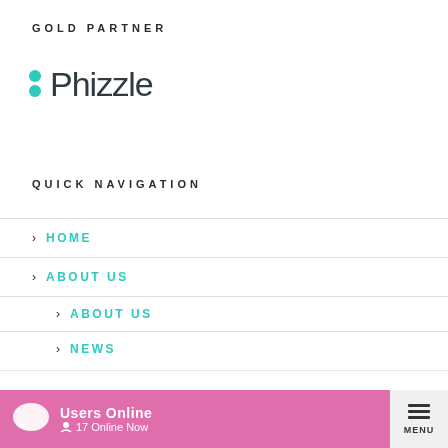GOLD PARTNER
[Figure (logo): Phizzle logo with teal dot icon and dark text]
QUICK NAVIGATION
HOME
ABOUT US
ABOUT US
NEWS
This website uses cookies for quality control and to improve your experience. By your continued use of the site you accept our
Users Online  17 Online Now  MENU